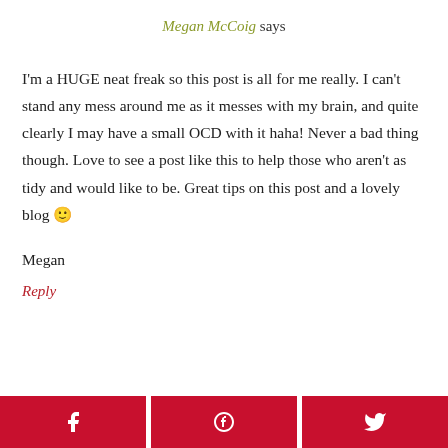Megan McCoig says
I'm a HUGE neat freak so this post is all for me really. I can't stand any mess around me as it messes with my brain, and quite clearly I may have a small OCD with it haha! Never a bad thing though. Love to see a post like this to help those who aren't as tidy and would like to be. Great tips on this post and a lovely blog 🙂
Megan
Reply
[Figure (other): Social share buttons bar at the bottom: Facebook (f), Pinterest (p), Twitter (bird icon), all on dark red/crimson background]